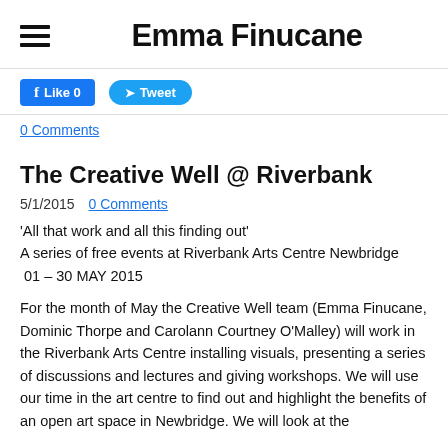Emma Finucane
[Figure (screenshot): Facebook Like button (blue, showing 'Like 0') and Twitter Tweet button (blue) social sharing buttons]
0 Comments
The Creative Well @ Riverbank
5/1/2015  0 Comments
'All that work and all this finding out'
A series of free events at Riverbank Arts Centre Newbridge
 01 – 30 MAY 2015
For the month of May the Creative Well team (Emma Finucane, Dominic Thorpe and Carolann Courtney O'Malley) will work in the Riverbank Arts Centre installing visuals, presenting a series of discussions and lectures and giving workshops. We will use our time in the art centre to find out and highlight the benefits of an open art space in Newbridge. We will look at the